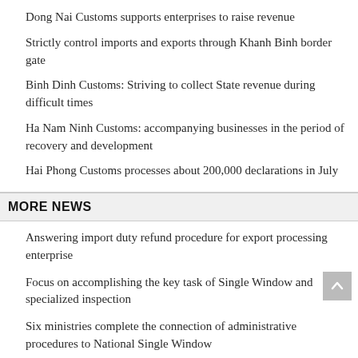Dong Nai Customs supports enterprises to raise revenue
Strictly control imports and exports through Khanh Binh border gate
Binh Dinh Customs: Striving to collect State revenue during difficult times
Ha Nam Ninh Customs: accompanying businesses in the period of recovery and development
Hai Phong Customs processes about 200,000 declarations in July
MORE NEWS
Answering import duty refund procedure for export processing enterprise
Focus on accomplishing the key task of Single Window and specialized inspection
Six ministries complete the connection of administrative procedures to National Single Window